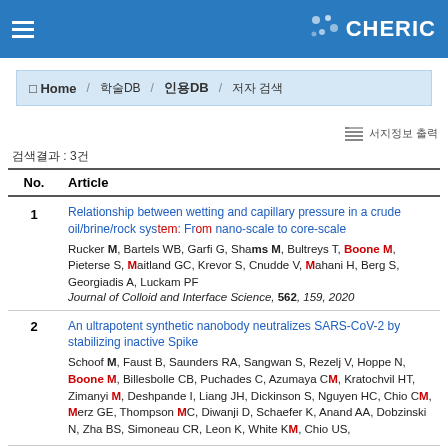CHERIC
Home / 학술DB / 인용DB / 저자 검색
검색결과 : 3건
| No. | Article |
| --- | --- |
| 1 | Relationship between wetting and capillary pressure in a crude oil/brine/rock system: From nano-scale to core-scale
Rucker M, Bartels WB, Garfi G, Shams M, Bultreys T, Boone M, Pieterse S, Maitland GC, Krevor S, Cnudde V, Mahani H, Berg S, Georgiadis A, Luckham PF
Journal of Colloid and Interface Science, 562, 159, 2020 |
| 2 | An ultrapotent synthetic nanobody neutralizes SARS-CoV-2 by stabilizing inactive Spike
Schoof M, Faust B, Saunders RA, Sangwan S, Rezelj V, Hoppe N, Boone M, Billesbolle CB, Puchades C, Azumaya CM, Kratochvil HT, Zimanyi M, Deshpande I, Liang JH, Dickinson S, Nguyen HC, Chio CM, Merz GE, Thompson MC, Diwanji D, Schaefer K, Anand AA, Dobzinski N, Zha BS, Simoneau CR, Leon K, White KM, Chio US, |